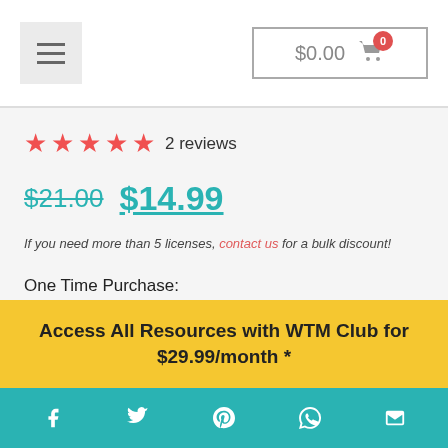$0.00 cart
★★★★★ 2 reviews
$21.00 $14.99
If you need more than 5 licenses, contact us for a bulk discount!
One Time Purchase:
Add to cart
Access All Resources with WTM Club for $29.99/month *
Social share icons: Facebook, Twitter, Pinterest, WhatsApp, Email